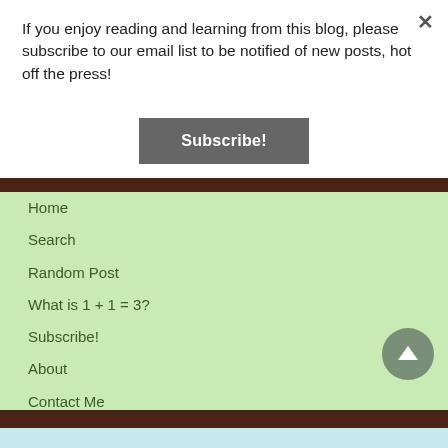If you enjoy reading and learning from this blog, please subscribe to our email list to be notified of new posts, hot off the press!
Subscribe!
Home
Search
Random Post
What is 1 + 1 = 3?
Subscribe!
About
Contact Me